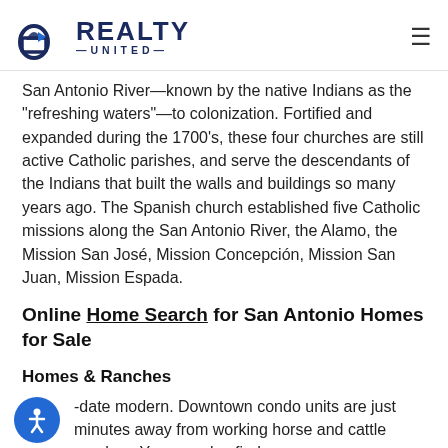REALTY UNITED
San Antonio River—known by the native Indians as the "refreshing waters"—to colonization. Fortified and expanded during the 1700's, these four churches are still active Catholic parishes, and serve the descendants of the Indians that built the walls and buildings so many years ago. The Spanish church established five Catholic missions along the San Antonio River, the Alamo, the Mission San José, Mission Concepción, Mission San Juan, Mission Espada.
Online Home Search for San Antonio Homes for Sale
Homes & Ranches
Home styles in San Antonio range from Spanish Colonial to up-to-date modern. Downtown condo units are just minutes away from working horse and cattle ranches. You can also find...